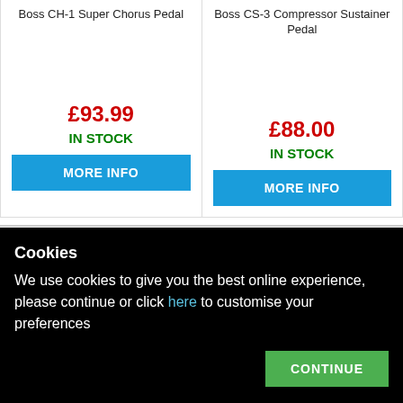Boss CH-1 Super Chorus Pedal
Boss CS-3 Compressor Sustainer Pedal
£93.99
IN STOCK
MORE INFO
£88.00
IN STOCK
MORE INFO
DESCRIPTION
FEATURES/SPEC
Cookies
We use cookies to give you the best online experience, please continue or click here to customise your preferences
CONTINUE